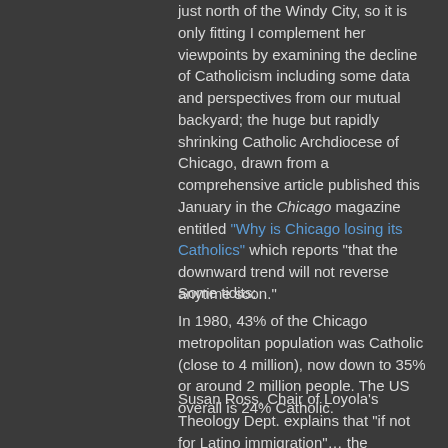just north of the Windy City, so it is only fitting I complement her viewpoints by examining the decline of Catholicism including some data and perspectives from our mutual backyard; the huge but rapidly shrinking Catholic Archdiocese of Chicago, drawn from a comprehensive article published this January in the Chicago magazine entitled "Why is Chicago losing its Catholics" which reports "that the downward trend will not reverse anytime soon."
Some tidits:
In 1980, 43% of the Chicago metropolitan population was Catholic (close to 4 million), now down to 35% or around 2 million people. The US overall is 24% Catholic.
Susan Ross, Chair of Loyola's Theology Dept. explains that "if not for Latino immigration"… the numbers would be down a lot more, and "I think we've lost this generation." It is also noted that ex-Catholics are younger and better educated than those remaining with the Church.